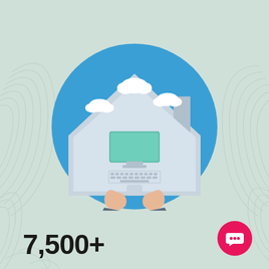[Figure (illustration): Circular illustration showing a person working from home: blue sky background with white clouds, a house/rooftop shape in light gray, and hands typing on a keyboard with a monitor/laptop in the center]
7,500+
[Figure (logo): Pink/magenta circular chat bubble icon with white speech bubble and three dots inside]